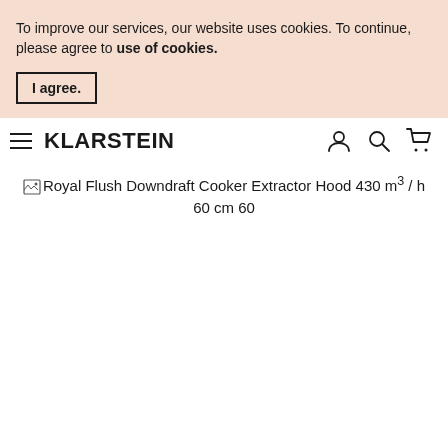To improve our services, our website uses cookies. To continue, please agree to use of cookies.
I agree.
KLARSTEIN
[Figure (screenshot): Broken image placeholder with alt text: Royal Flush Downdraft Cooker Extractor Hood 430 m³ / h 60 cm 60]